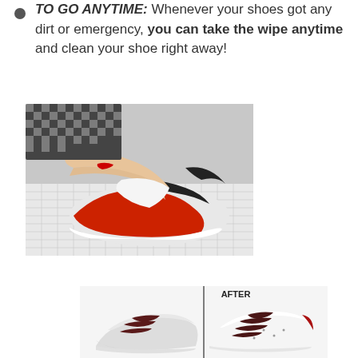TO GO ANYTIME: Whenever your shoes got any dirt or emergency, you can take the wipe anytime and clean your shoe right away!
[Figure (photo): Person's hands using a white wipe/cloth to clean a red and black sneaker on a gridded white surface]
[Figure (photo): Before and after comparison of a white sneaker with dark red/maroon laces. The right half shows the shoe AFTER cleaning, appearing cleaner and brighter.]